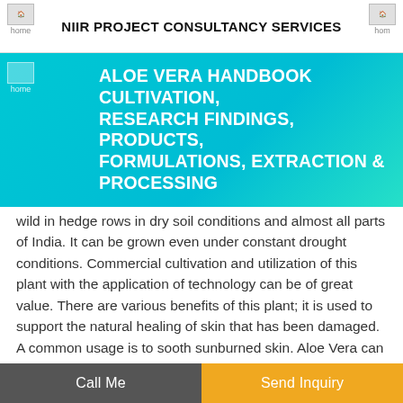NIIR PROJECT CONSULTANCY SERVICES
ALOE VERA HANDBOOK CULTIVATION, RESEARCH FINDINGS, PRODUCTS, FORMULATIONS, EXTRACTION & PROCESSING
wild in hedge rows in dry soil conditions and almost all parts of India. It can be grown even under constant drought conditions. Commercial cultivation and utilization of this plant with the application of technology can be of great value. There are various benefits of this plant; it is used to support the natural healing of skin that has been damaged. A common usage is to sooth sunburned skin. Aloe Vera can also be made into juices, gels, powders and is often added to products. For example it can be found in cosmetics, shampoos, lotions and many other common household
Call Me   Send Inquiry